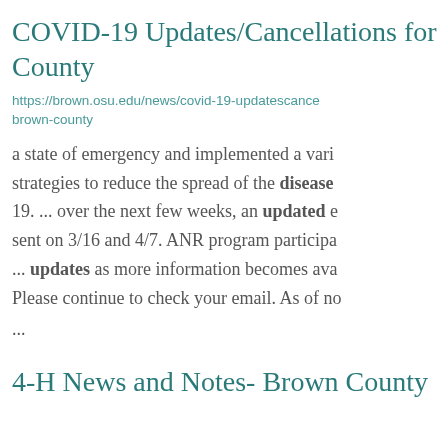COVID-19 Updates/Cancellations for County
https://brown.osu.edu/news/covid-19-updatescancellations-brown-county
a state of emergency and implemented a variety of strategies to reduce the spread of the disease 19. ... over the next few weeks, an updated email sent on 3/16 and 4/7. ANR program participants ... updates as more information becomes available. Please continue to check your email. As of no
...
4-H News and Notes- Brown County